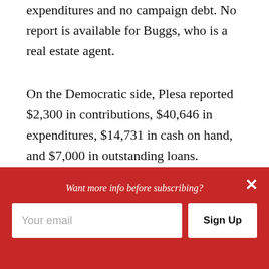expenditures and no campaign debt. No report is available for Buggs, who is a real estate agent.
On the Democratic side, Plesa reported $2,300 in contributions, $40,646 in expenditures, $14,731 in cash on hand, and $7,000 in outstanding loans.
Hernandez performed the best in fundraising with $18,290 in contributions and no campaign debt. She also reported $61,399 in expenditures and $21,757 in cash on hand.
[Figure (screenshot): Red email subscription banner overlay with close button (×), italic text 'Want more info before subscribing?', an email input field labeled 'Your email', and a 'Sign Up' button.]